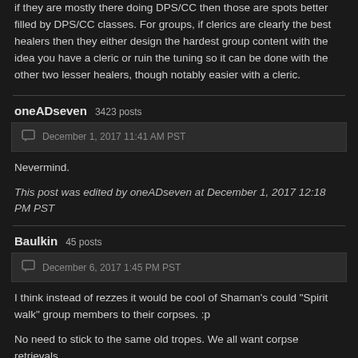if they are mostly there doing DPS/CC then those are spots better filled by DPS/CC classes. For groups, if clerics are clearly the best healers then they either design the hardest group content with the idea you have a cleric or ruin the tuning so it can be done with the other two lesser healers, though notably easier with a cleric.
oneADseven 3423 posts
December 1, 2017 11:41 AM PST
Nevermind.
This post was edited by oneADseven at December 1, 2017 12:18 PM PST
Baulkin 45 posts
December 6, 2017 1:45 PM PST
I think instead of rezzes it would be cool of Shaman's could "Spirit walk" group members to their corpses. :p
No need to stick to the same old tropes. We all want corpse retrievals